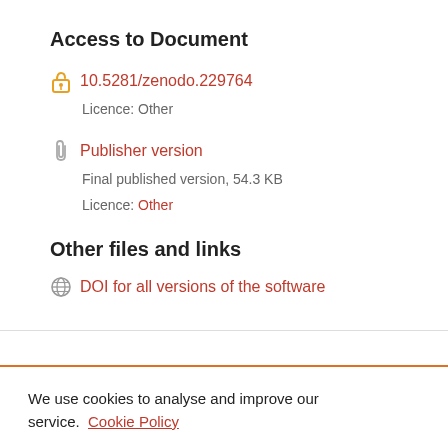Access to Document
10.5281/zenodo.229764
Licence: Other
Publisher version
Final published version, 54.3 KB
Licence: Other
Other files and links
DOI for all versions of the software
We use cookies to analyse and improve our service. Cookie Policy